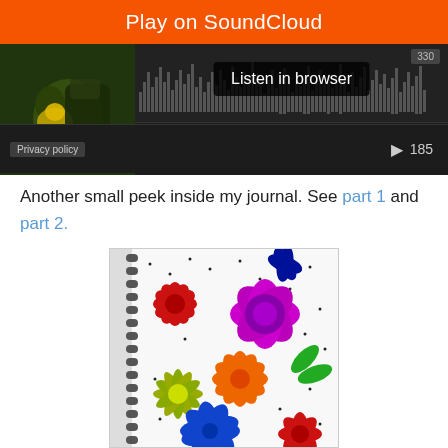[Figure (screenshot): SoundCloud embedded player widget with orange 'Play on SoundCloud' bar at top, dark body with thumbnail image of a creature on left, waveform display on right, 'Listen in browser' button overlay, privacy policy label, play button and 185 count at bottom.]
Another small peek inside my journal.  See part 1 and part 2.
[Figure (photo): Photo of a journal page showing colorful hand-drawn flowers on a white background with black dots. Flowers include red, purple/magenta, orange, yellow-green, blue, and red/maroon blooms. The journal has a spiral binding visible on the left edge.]